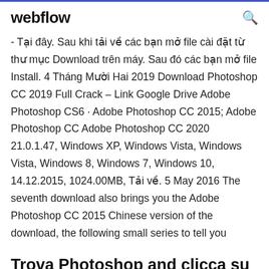webflow
- Tại đây. Sau khi tải về các bạn mở file cài đặt từ thư mục Download trên máy. Sau đó các bạn mở file Install. 4 Tháng Mười Hai 2019 Download Photoshop CC 2019 Full Crack – Link Google Drive Adobe Photoshop CS6 · Adobe Photoshop CC 2015; Adobe Photoshop CC Adobe Photoshop CC 2020 21.0.1.47, Windows XP, Windows Vista, Windows Vista, Windows 8, Windows 7, Windows 10, 14.12.2015, 1024.00MB, Tải về. 5 May 2016 The seventh download also brings you the Adobe Photoshop CC 2015 Chinese version of the download, the following small series to tell you
Trova Photoshop and clicca su